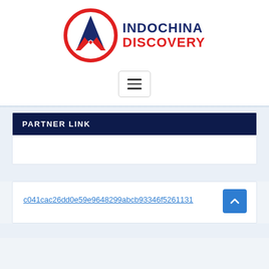[Figure (logo): Indochina Discovery logo with circular red and navy emblem and text INDOCHINA DISCOVERY in blue and red]
[Figure (other): Hamburger menu button with three horizontal lines, white background with grey border]
PARTNER LINK
c041cac26dd0e59e9648299abcb93346f5261131